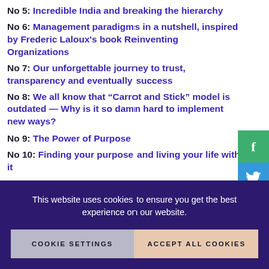No 5: Incredible India and breaking the hierarchy
No 6: Management paradigms in a nutshell, inspired by Frederic Laloux's book Reinventing Organizations
No 7: Our unforgettable journey to trust, transparency and eventually success
No 8: We all know that “Carrot and Stick” model is outdated — Why is it so damn hard to implement new ways?
No 9: The Power of Purpose
No 10: Finding your purpose and living your life with it
This website uses cookies to ensure you get the best experience on our website.
COOKIE SETTINGS | ACCEPT ALL COOKIES